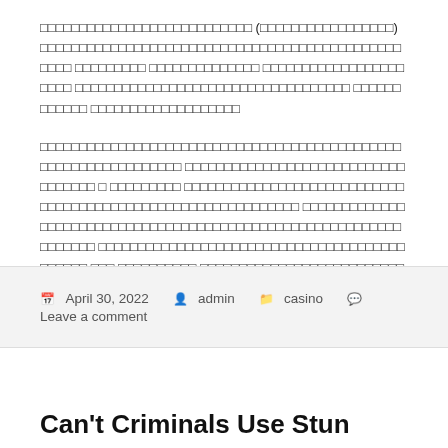□□□□□□□□□□□□□□□□□□□□□□□□□□□ (□□□□□□□□□□□□□□□□□) □□□□□□□□□□□□□□□□□□□□□□□□□□□□□□□□□□□□□□□□□□□□□□□□□□□□□□□□□□□□□□□□□□□□□□□□□□□□□□□□□□□□□□□□□□□□□□□□□□□□□□□□□□□□□□□□□□□□□□□□□□□□□□□□□□□□□□□□□□□□□□□□□□□□□□□□□□□□□□□□□□□□□□□□□□□□□□□□□□□□□□□□□□□□□□□□□□□□□□□□□□□□□□□□□□□□□□□□□□□□□□□□□□□□□□□□□□□□□□□□□□□□□□□□□□□□□
□□□□□□□□□□□□□□□□□□□□□□□□□□□□□□□□□□□□□□□□□□□□□□□□□□□□□□□□□□□□□□□□□□□□□□□□□□□□□□□□□□□□□□□□□□□□□□□□□□□□□□□□□□□□□□□□□□□□□□□□□□□□□□□□□□□□□□□□□□□□□□□□□□□□□□□□□□□□□□□□□□□□□□□□□□□□□□□□□□□□□□□□□□□□□□□□□□□□□□□□□□□□□□□□□□□□□□□□□□□□□□□□□□□□□□□□□□□□□□□□□□□□□□□□□□□□□□□□□□□□□□□□□□□□□□□□□□□□□□□□□□□□□□□□□□□□□□□□□□
April 30, 2022   admin   casino   Leave a comment
Can't Criminals Use Stun